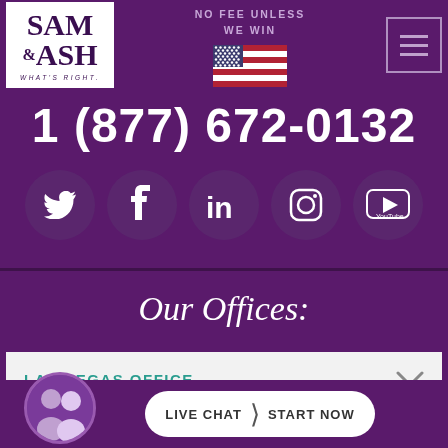[Figure (logo): Sam & Ash law firm logo, white box with serif text]
NO FEE UNLESS WE WIN
[Figure (illustration): American flag]
[Figure (other): Hamburger menu icon]
1 (877) 672-0132
[Figure (infographic): Social media icons row: Twitter, Facebook, LinkedIn, Instagram, YouTube]
Our Offices:
LAS VEGAS OFFICE
[Figure (photo): Two attorneys photo avatars]
LIVE CHAT | START NOW